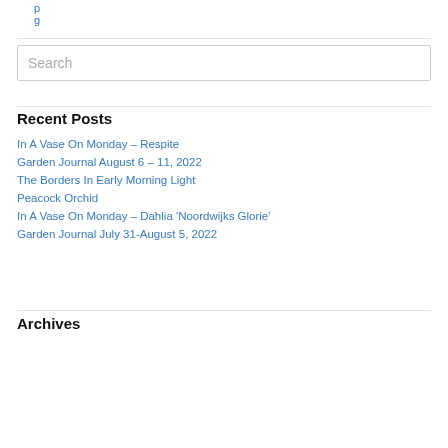p…g
Recent Posts
In A Vase On Monday – Respite
Garden Journal August 6 – 11, 2022
The Borders In Early Morning Light
Peacock Orchid
In A Vase On Monday – Dahlia 'Noordwijks Glorie'
Garden Journal July 31-August 5, 2022
Archives